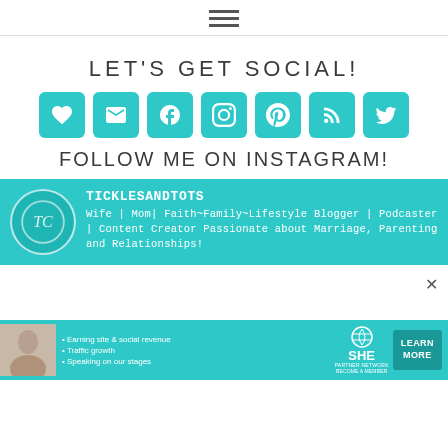≡ (hamburger menu icon)
LET'S GET SOCIAL!
[Figure (infographic): Row of 7 teal rounded square social media icons: heart/bloglovin, email, facebook, instagram, pinterest, RSS, twitter]
FOLLOW ME ON INSTAGRAM!
[Figure (infographic): Instagram profile card on teal background: avatar logo with TC initials, username TICKLESANDTOTS, bio: Wife | Mom| Faith~Family~Lifestyle Blogger | Podcaster | Content Creator Passionate about Marriage, Parenting and Relationships!]
[Figure (infographic): Advertisement banner: SHE Partner Network - Earning site & social revenue, Traffic growth, Speaking on our stages. LEARN MORE button.]